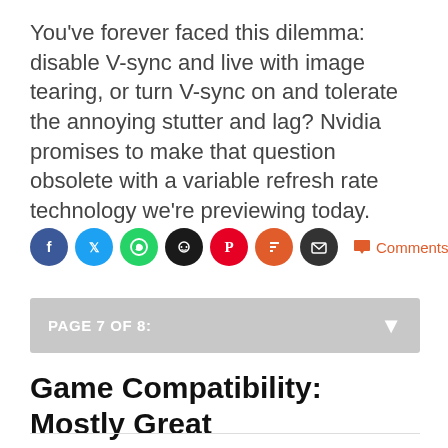You've forever faced this dilemma: disable V-sync and live with image tearing, or turn V-sync on and tolerate the annoying stutter and lag? Nvidia promises to make that question obsolete with a variable refresh rate technology we're previewing today.
[Figure (infographic): Social sharing icons row: Facebook (blue), Twitter (light blue), WhatsApp (green), Reddit (black), Pinterest (red), Flipboard (orange-red), Email (dark), followed by Comments (171) link in orange-red]
PAGE 7 OF 8:
Game Compatibility: Mostly Great